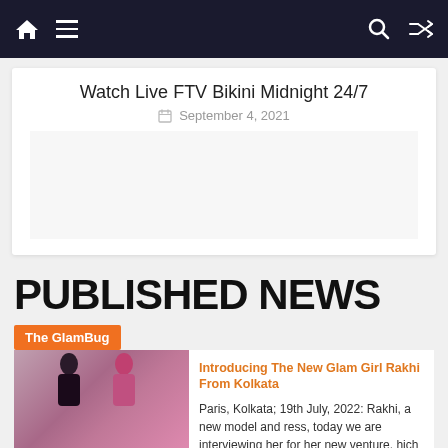Navigation bar with home, menu, search, and shuffle icons
Watch Live FTV Bikini Midnight 24/7
September 4, 2021
PUBLISHED NEWS
The GlamBug
Introducing The New Glam Girl Rakhi From Kolkata
Paris, Kolkata; 19th July, 2022: Rakhi, a new model and ress, today we are interviewing her for her new venture. hich is going viral on YouTube and social media. Her social